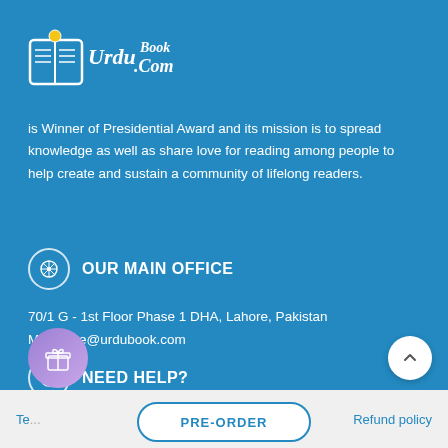[Figure (logo): UrduBook.com logo with open book icon and stylized text]
is Winner of Presidential Award and its mission is to spread knowledge as well as share love for reading among people to help create and sustain a community of lifelong readers.
OUR MAIN OFFICE
70/1 G - 1st Floor Phase 1 DHA, Lahore, Pakistan
Mail: care@urdubook.com
NEED HELP?
Te...
Refund policy